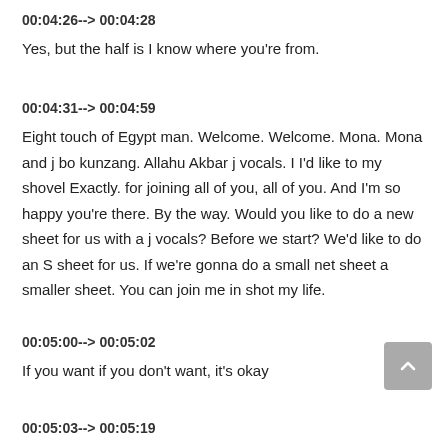00:04:26--> 00:04:28
Yes, but the half is I know where you're from.
00:04:31--> 00:04:59
Eight touch of Egypt man. Welcome. Welcome. Mona. Mona and j bo kunzang. Allahu Akbar j vocals. I I'd like to my shovel Exactly. for joining all of you, all of you. And I'm so happy you're there. By the way. Would you like to do a new sheet for us with a j vocals? Before we start? We'd like to do an S sheet for us. If we're gonna do a small net sheet a smaller sheet. You can join me in shot my life.
00:05:00--> 00:05:02
If you want if you don't want, it's okay
00:05:03--> 00:05:19